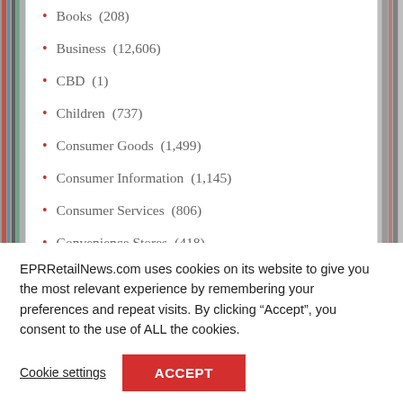Books (208)
Business (12,606)
CBD (1)
Children (737)
Consumer Goods (1,499)
Consumer Information (1,145)
Consumer Services (806)
Convenience Stores (418)
EPRRetailNews.com uses cookies on its website to give you the most relevant experience by remembering your preferences and repeat visits. By clicking “Accept”, you consent to the use of ALL the cookies.
Cookie settings
ACCEPT